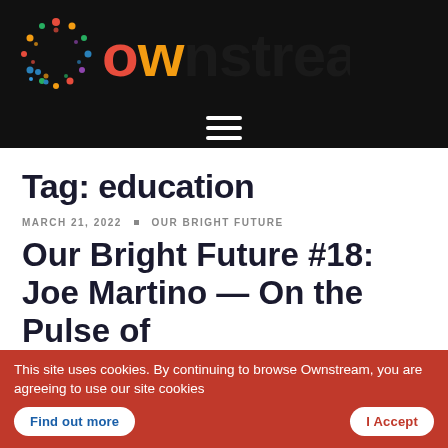[Figure (logo): Ownstream logo: circular dotted icon in multicolor on black background with 'ownstream' wordmark in multicolor letters]
[Figure (other): Hamburger menu icon (three horizontal white lines) on black background]
Tag: education
MARCH 21, 2022 · OUR BRIGHT FUTURE
Our Bright Future #18: Joe Martino — On the Pulse of
This site uses cookies. By continuing to browse Ownstream, you are agreeing to use our site cookies Find out more I Accept